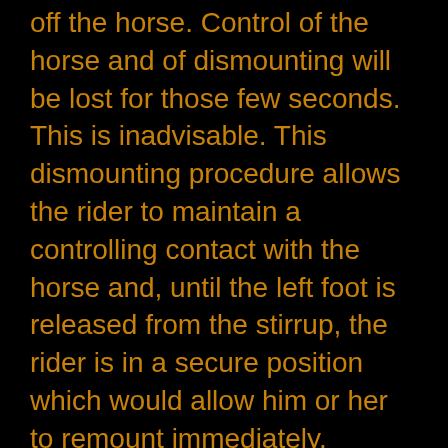off the horse. Control of the horse and of dismounting will be lost for those few seconds. This is inadvisable. This dismounting procedure allows the rider to maintain a controlling contact with the horse and, until the left foot is released from the stirrup, the rider is in a secure position which would allow him or her to remount immediately.
Leading the horse after dismounting
This description assumes you are using split reins.
When dismounted, you will normally let go of the right rein and hold the horse gently with the left rein in the